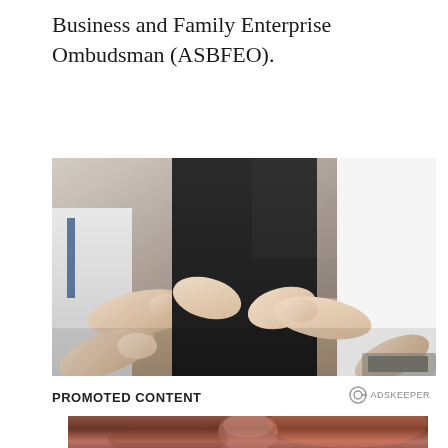Business and Family Enterprise Ombudsman (ASBFEO).
[Figure (photo): Business meeting scene showing multiple people gesturing with hands around a central figure in a dark suit, office environment with plants in background]
PROMOTED CONTENT
[Figure (photo): Promotional content image showing a person with eyes closed in warm lighting]